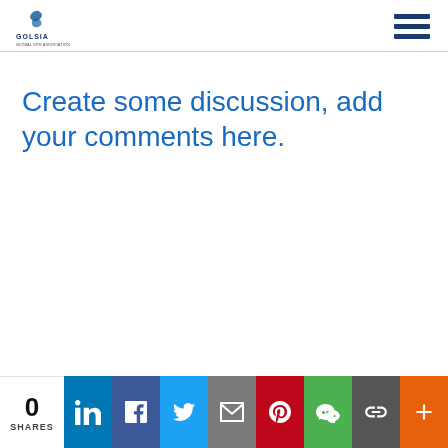GOLSIA logo and navigation menu
Create some discussion, add your comments here.
0 SHARES | LinkedIn | Facebook | Twitter | Email | Pinterest | WeChat | Link | More